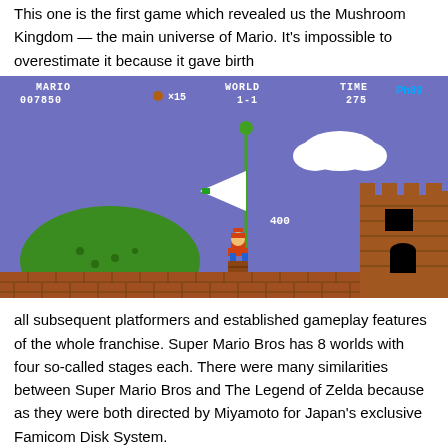This one is the first game which revealed us the Mushroom Kingdom — the main universe of Mario. It's impossible to overestimate it because it gave birth
[Figure (screenshot): Super Mario Bros NES screenshot showing World 1-1, score 007850, 15 lives, TIME 275, Mario climbing flagpole near castle with score 400, green hill in background. Watermark Ph89 in top right.]
all subsequent platformers and established gameplay features of the whole franchise. Super Mario Bros has 8 worlds with four so-called stages each. There were many similarities between Super Mario Bros and The Legend of Zelda because as they were both directed by Miyamoto for Japan's exclusive Famicom Disk System.

Super Mario Bros were developed by only 4 people. Shigeru Miyamoto held an appointment of the director, designer, and producer at the same time. Programming was conducted by Toshiko Nakago and Kazuaki Morita. Koji